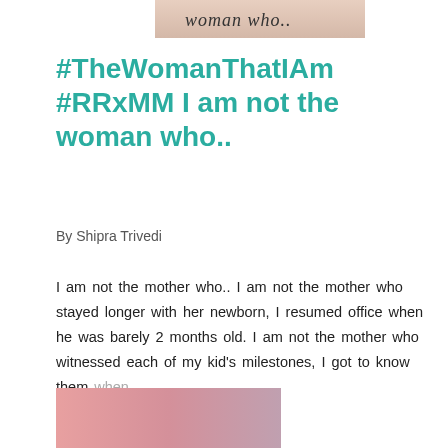[Figure (photo): Partial image at top showing cursive text 'woman who..' on a light background]
#TheWomanThatIAm #RRxMM I am not the woman who..
By Shipra Trivedi
I am not the mother who.. I am not the mother who stayed longer with her newborn, I resumed office when he was barely 2 months old. I am not the mother who witnessed each of my kid's milestones, I got to know them when ...
75 COMMENTS
READ MORE
[Figure (photo): Partial image at bottom showing a pink/rose gradient background, cropped]